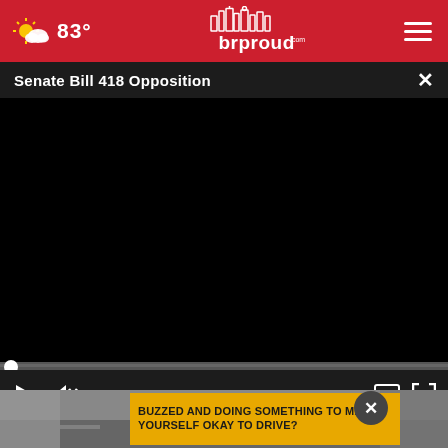83° brproud.com
Senate Bill 418 Opposition
[Figure (screenshot): Black video player area showing a paused/unloaded video for 'Senate Bill 418 Opposition']
00:00
Healthy Gem
[Figure (photo): Advertisement banner: 'BUZZED AND DOING SOMETHING TO MAKE YOURSELF OKAY TO DRIVE?' on yellow background over a street/road scene photo]